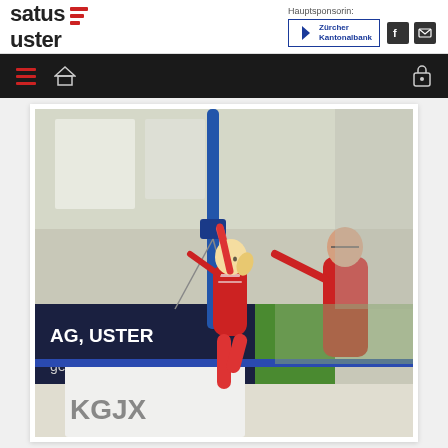[Figure (logo): SATUS Uster logo with red horizontal bars icon]
Hauptsponsorin:
[Figure (logo): Zürcher Kantonalbank sponsor logo in blue border box]
[Figure (logo): Facebook and email icons in dark squares]
[Figure (photo): Young female gymnast in red leotard reaching up to gymnastics bar, coach in red shirt assisting, indoor gymnasium with banners reading AG, USTER and ge.ch]